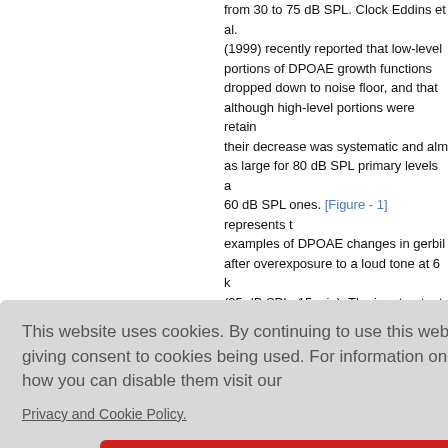from 30 to 75 dB SPL. Clock Eddins et al. (1999) recently reported that low-level portions of DPOAE growth functions dropped down to noise floor, and that although high-level portions were retained, their decrease was systematic and almost as large for 80 dB SPL primary levels as 60 dB SPL ones. [Figure - 1] represents two examples of DPOAE changes in gerbil after overexposure to a loud tone at 6 kHz (95 dB SPL, 15 min). The input-output p... ne case (... d shift wa... was muc... PL than a... e (bold li... was large... sed whate...
nclude tha... ases DPO... levels at all stimulus intensities, althou...
This website uses cookies. By continuing to use this website you are giving consent to cookies being used. For information on cookies and how you can disable them visit our Privacy and Cookie Policy.